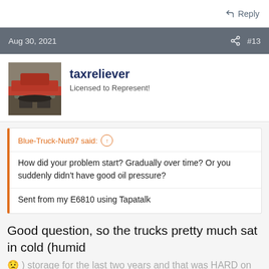Reply
Aug 30, 2021  #13
taxreliever
Licensed to Represent!
Blue-Truck-Nut97 said:
How did your problem start? Gradually over time? Or you suddenly didn't have good oil pressure?
Sent from my E6810 using Tapatalk
Good question, so the trucks pretty much sat in cold (humid 😟) storage for the last two years and that was HARD on them....we had to drain the gas, replace seals, filters, etc. But